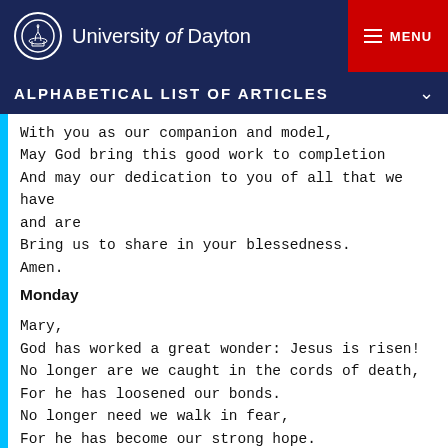University of Dayton | MENU
ALPHABETICAL LIST OF ARTICLES
With you as our companion and model,
May God bring this good work to completion
And may our dedication to you of all that we have and are
Bring us to share in your blessedness.
Amen.
Monday
Mary,
God has worked a great wonder: Jesus is risen!
No longer are we caught in the cords of death,
For he has loosened our bonds.
No longer need we walk in fear,
For he has become our strong hope.